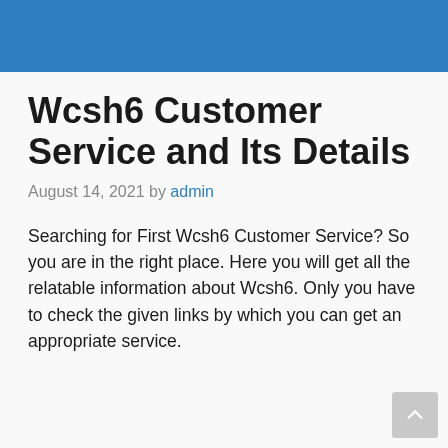Wcsh6 Customer Service and Its Details
August 14, 2021 by admin
Searching for First Wcsh6 Customer Service? So you are in the right place. Here you will get all the relatable information about Wcsh6. Only you have to check the given links by which you can get an appropriate service.